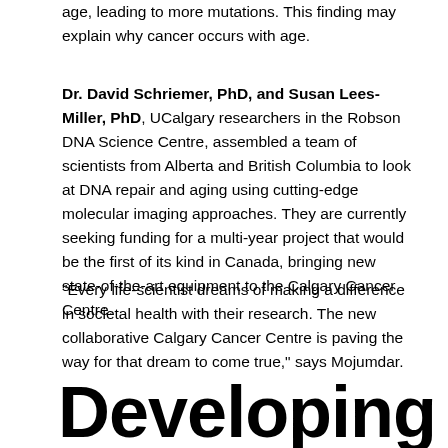age, leading to more mutations. This finding may explain why cancer occurs with age.
Dr. David Schriemer, PhD, and Susan Lees-Miller, PhD, UCalgary researchers in the Robson DNA Science Centre, assembled a team of scientists from Alberta and British Columbia to look at DNA repair and aging using cutting-edge molecular imaging approaches. They are currently seeking funding for a multi-year project that would be the first of its kind in Canada, bringing new state-of-the-art equipment to the Calgary Cancer Centre.
"Every life-scientist dreams of making a difference in societal health with their research. The new collaborative Calgary Cancer Centre is paving the way for that dream to come true," says Mojumdar.
Developing